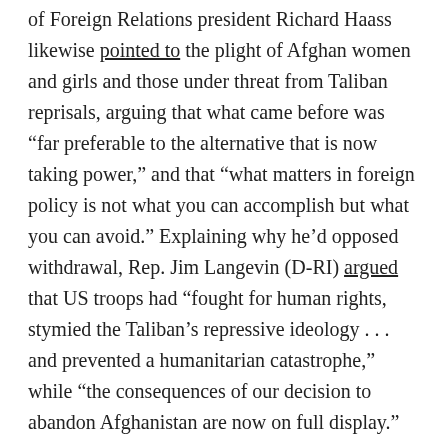of Foreign Relations president Richard Haass likewise pointed to the plight of Afghan women and girls and those under threat from Taliban reprisals, arguing that what came before was “far preferable to the alternative that is now taking power,” and that “what matters in foreign policy is not what you can accomplish but what you can avoid.” Explaining why he’d opposed withdrawal, Rep. Jim Langevin (D-RI) argued that US troops had “fought for human rights, stymied the Taliban’s repressive ideology . . . and prevented a humanitarian catastrophe,” while “the consequences of our decision to abandon Afghanistan are now on full display.”
But if human rights are going to be used as a reason for re-regime-changing Afghanistan — barely days after the first